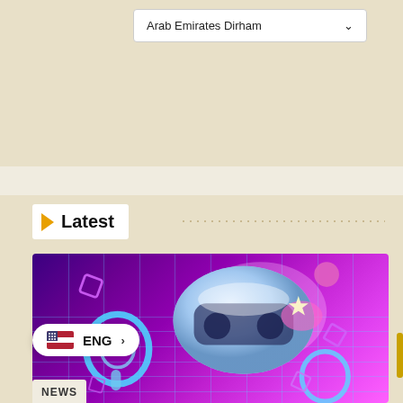Arab Emirates Dirham
Latest
[Figure (illustration): VR headset (PlayStation VR style) with controllers floating in a purple/magenta metaverse grid environment with glowing cubes and spheres]
ENG
NEWS